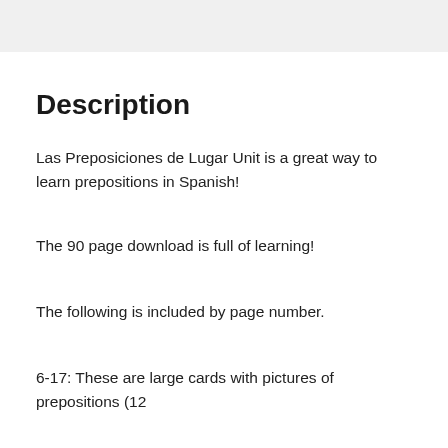Description
Las Preposiciones de Lugar Unit is a great way to learn prepositions in Spanish!
The 90 page download is full of learning!
The following is included by page number.
6-17: These are large cards with pictures of prepositions (12 cards)